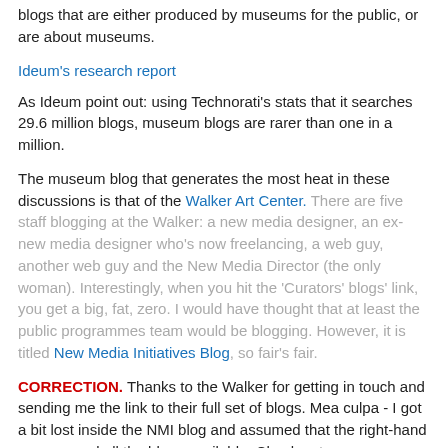blogs that are either produced by museums for the public, or are about museums.
Ideum's research report
As Ideum point out: using Technorati's stats that it searches 29.6 million blogs, museum blogs are rarer than one in a million.
The museum blog that generates the most heat in these discussions is that of the Walker Art Center. There are five staff blogging at the Walker: a new media designer, an ex-new media designer who's now freelancing, a web guy, another web guy and the New Media Director (the only woman). Interestingly, when you hit the 'Curators' blogs' link, you get a big, fat, zero. I would have thought that at least the public programmes team would be blogging. However, it is titled New Media Initiatives Blog, so fair's fair.
CORRECTION. Thanks to the Walker for getting in touch and sending me the link to their full set of blogs. Mea culpa - I got a bit lost inside the NMI blog and assumed that the right-hand nav covered all the blogs available. Check out